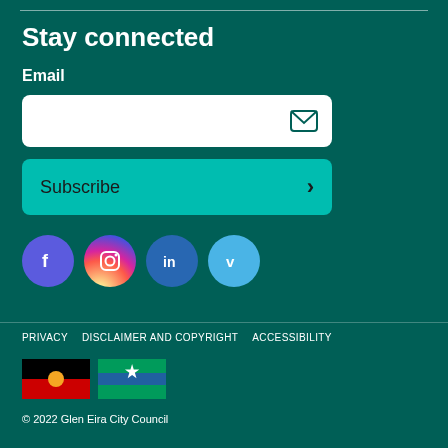Stay connected
Email
[Figure (screenshot): Email input field with envelope icon]
[Figure (screenshot): Subscribe button with right arrow]
[Figure (screenshot): Social media icons: Facebook, Instagram, LinkedIn, Vimeo]
PRIVACY   DISCLAIMER AND COPYRIGHT   ACCESSIBILITY
[Figure (illustration): Aboriginal flag and Torres Strait Islander flag]
© 2022 Glen Eira City Council